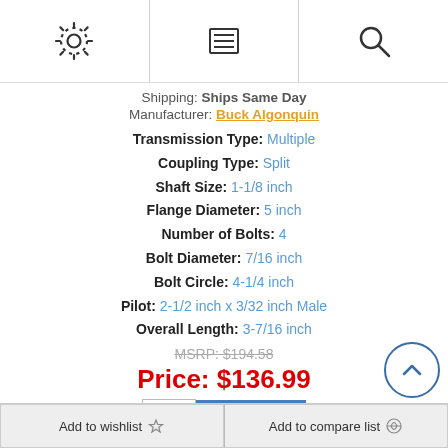Navigation header with gear, menu, and search icons
Shipping: Ships Same Day
Manufacturer: Buck Algonquin
Transmission Type: Multiple
Coupling Type: Split
Shaft Size: 1-1/8 inch
Flange Diameter: 5 inch
Number of Bolts: 4
Bolt Diameter: 7/16 inch
Bolt Circle: 4-1/4 inch
Pilot: 2-1/2 inch x 3/32 inch Male
Overall Length: 3-7/16 inch
MSRP: $194.58
Price: $136.99
Please select the address you want to ship from
Add to wishlist
Add to compare list